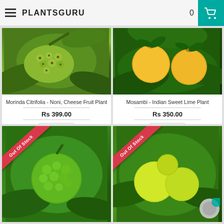PLANTSGURU
[Figure (photo): Morinda Citrifolia - Noni fruit plant photo]
Morinda Citrifolia - Noni, Cheese Fruit Plant
Rs 399.00
Add to Cart
Expected Dispatch Date: Aug 26, 2022
[Figure (photo): Mosambi - Indian Sweet Lime plant photo with yellow fruits]
Mosambi - Indian Sweet Lime Plant
Rs 350.00
Add to Cart
Expected Dispatch Date: Aug 26, 2022
[Figure (photo): Out of Stock - green bumpy lime plant photo]
[Figure (photo): Out of Stock - citrus/lime plant photo]